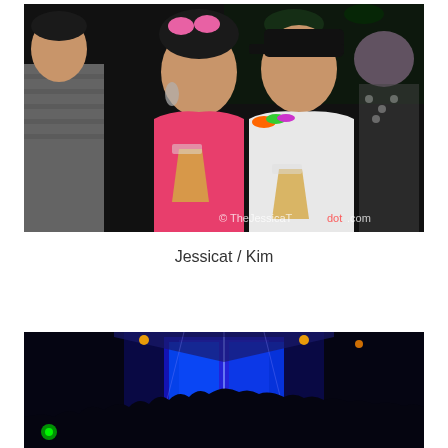[Figure (photo): Two people posing at a nightclub/party event. A woman wearing pink top with pink heart-shaped sunglasses on her head and a man in white shirt wearing a black cap, both holding drinks (beer in plastic cups). Watermark reads '© TheJessicaTdot.com'. Dark background with other party-goers visible.]
Jessicat / Kim
[Figure (photo): Dark nightclub/concert venue photo with blue LED lighting illuminating a stage or DJ area. Crowd visible in foreground, bright blue lights and stage equipment visible in background.]